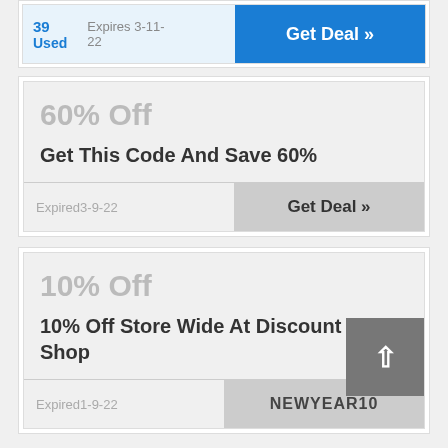39 Used  Expires 3-11-22  Get Deal »
60% Off
Get This Code And Save 60%
Expired3-9-22  Get Deal »
10% Off
10% Off Store Wide At Discount Poke Shop
Expired1-9-22  NEWYEAR10